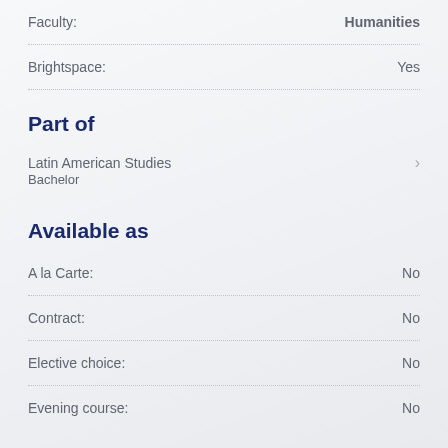Faculty: Humanities
Brightspace: Yes
Part of
Latin American Studies
Bachelor
Available as
A la Carte: No
Contract: No
Elective choice: No
Evening course: No